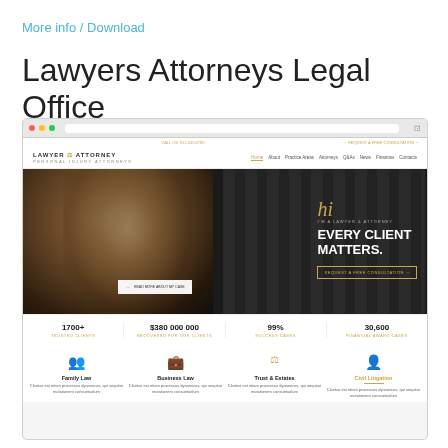More info / Download
Lawyers Attorneys Legal Office
[Figure (screenshot): Browser screenshot of a law firm website 'Lawyer & Attorney' showing a hero section with a smiling man in dark clothing, text 'hi EVERY CLIENT MATTERS.' with a 'REQUEST A FREE CONSULTATION' button, navigation menu, stats bar showing 1700+ trusted clients, $380,000,000 recovered for clients, 99% success rate, 30,600+ financial award cases, and service categories including Family Law, Business Law, Trust & Estates, and Civil Litigation with icons.]